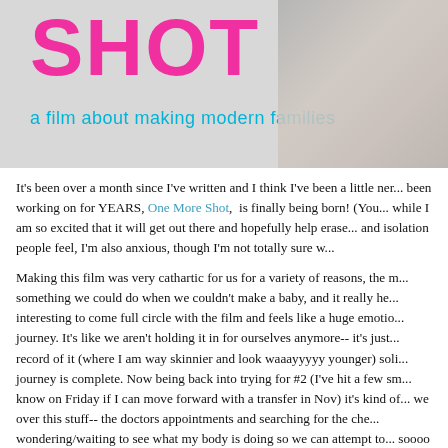[Figure (photo): Movie poster image for 'One More Shot — a film about making modern families'. Large hot-pink bold text 'SHOT' visible at top left on light grey background with a blurred black-and-white photo of a person's face/shoulder on the right side. Subtitle in cyan reads 'a film about making modern families'.]
It's been over a month since I've written and I think I've been a little ner... been working on for YEARS, One More Shot, is finally being born! (You... while I am so excited that it will get out there and hopefully help erase... and isolation people feel, I'm also anxious, though I'm not totally sure w...
Making this film was very cathartic for us for a variety of reasons, the m... something we could do when we couldn't make a baby, and it really he... interesting to come full circle with the film and feels like a huge emotio... journey. It's like we aren't holding it in for ourselves anymore-- it's just... record of it (where I am way skinnier and look waaayyyyy younger) soli... journey is complete. Now being back into trying for #2 (I've hit a few sm... know on Friday if I can move forward with a transfer in Nov) it's kind of... we over this stuff-- the doctors appointments and searching for the ch... wondering/waiting to see what my body is doing so we can attempt to... soooo 2014. And yet here we are. The film is being born and we are ba...